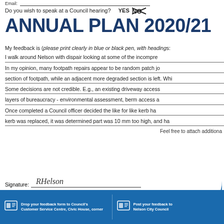Email:
Do you wish to speak at a Council hearing?   YES   NO
ANNUAL PLAN 2020/21
My feedback is (please print clearly in blue or black pen, with headings:
I walk around Nelson with dispair looking at some of the incompre...
In my opinion, many footpath repairs appear to be random patch jo...
section of footpath, while an adjacent more degraded section is left. Whi...
Some decisions are not credible. E.g., an existing driveway access...
layers of bureaucracy - environmental assessment, berm access a...
Once completed a Council officer decided the like for like kerb ha...
kerb was replaced, it was determined part was 10 mm too high, and ha...
Feel free to attach additiona...
Signature:
Date: 06 May 2020
Drop your feedback form to Council's Customer Service Centre, Civic House, corner | Post your feedback to Nelson City Council